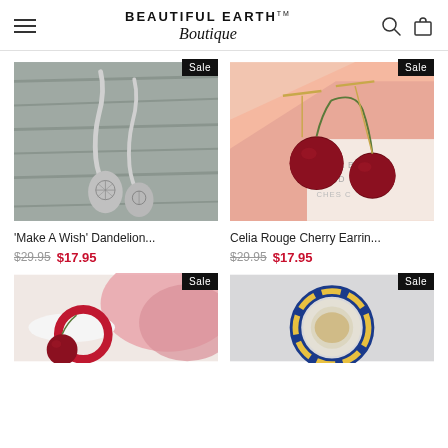BEAUTIFUL EARTH™ Boutique
[Figure (photo): Silver dandelion drop earrings on gray wooden background with Sale badge]
'Make A Wish' Dandelion...
$29.95  $17.95
[Figure (photo): Gold cherry drop earrings with cherry fruit props on pink background with Sale badge]
Celia Rouge Cherry Earrin...
$29.95  $17.95
[Figure (photo): Red hoop earrings with cherry props on pink background with Sale badge]
[Figure (photo): Colorful cloisonne ring on gray background with Sale badge]